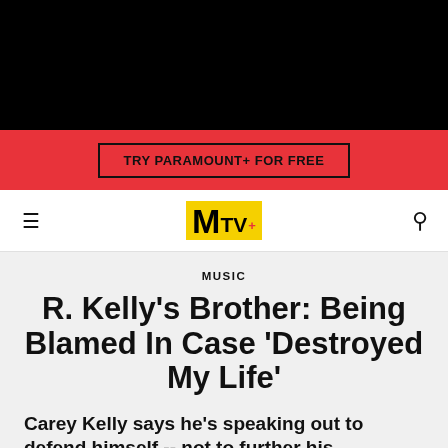[Figure (other): Black header bar at top of page]
TRY PARAMOUNT+ FOR FREE
MTV logo navigation bar with hamburger menu and search icon
MUSIC
R. Kelly's Brother: Being Blamed In Case 'Destroyed My Life'
Carey Kelly says he's speaking out to defend himself -- not to further his